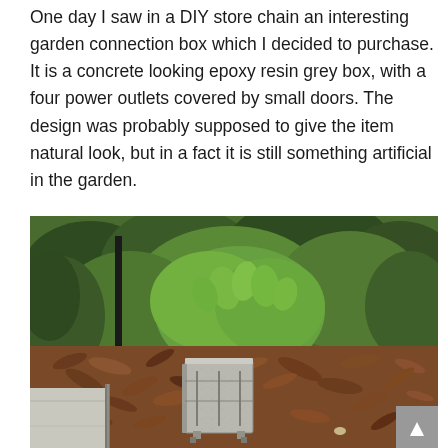One day I saw in a DIY store chain an interesting garden connection box which I decided to purchase. It is a concrete looking epoxy resin grey box, with a four power outlets covered by small doors. The design was probably supposed to give the item natural look, but in a fact it is still something artificial in the garden.
[Figure (photo): Outdoor garden scene showing a concrete-looking grey epoxy resin electrical connection box sitting on mulch/bark ground cover, surrounded by green shrubs and plants. A sidewalk/pavement edge is visible on the left. A grey scroll-to-top button is visible in the bottom-right corner of the image.]